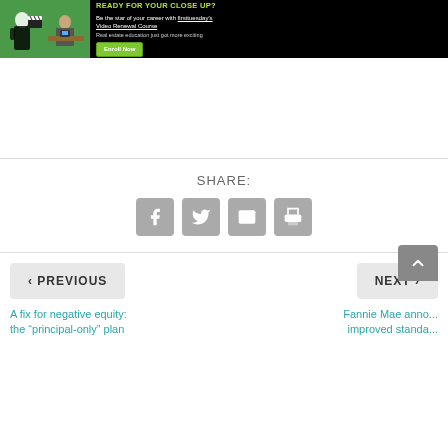[Figure (screenshot): firsttuesday Video Renewal Course advertisement banner showing a woman holding a clapperboard on a green screen, a man at a desk, with text 'Be the star of your career with firsttuesday's Video Renewal Course. Real estate education just got more exciting.' and an 'Enroll Now' green button.]
SHARE:
[Figure (infographic): Row of four grey social sharing icon buttons: Facebook (f), Twitter (bird), Email (envelope), Print (printer)]
< PREVIOUS
NEXT >
A fix for negative equity: the “principal-only” plan
Fannie Mae announces improved standards